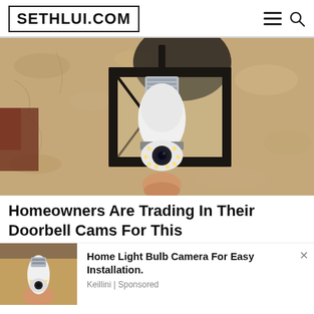SETHLUI.COM
[Figure (photo): A bulb-style security camera with LED ring installed inside a black outdoor lantern fixture mounted on a textured stucco wall.]
Homeowners Are Trading In Their Doorbell Cams For This
[Figure (photo): Small thumbnail of a hand holding a white bulb-style security camera.]
Home Light Bulb Camera For Easy Installation.
Keillini | Sponsored